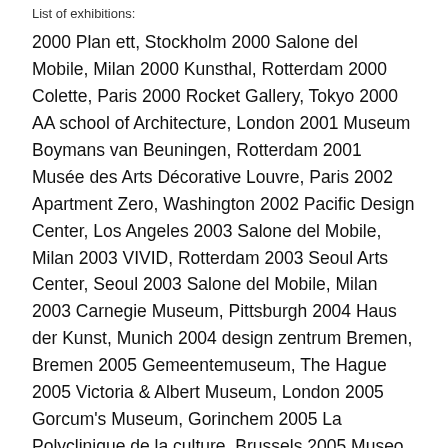List of exhibitions:
2000 Plan ett, Stockholm 2000 Salone del Mobile, Milan 2000 Kunsthal, Rotterdam 2000 Colette, Paris 2000 Rocket Gallery, Tokyo 2000 AA school of Architecture, London 2001 Museum Boymans van Beuningen, Rotterdam 2001 Musée des Arts Décorative Louvre, Paris 2002 Apartment Zero, Washington 2002 Pacific Design Center, Los Angeles 2003 Salone del Mobile, Milan 2003 VIVID, Rotterdam 2003 Seoul Arts Center, Seoul 2003 Salone del Mobile, Milan 2003 Carnegie Museum, Pittsburgh 2004 Haus der Kunst, Munich 2004 design zentrum Bremen, Bremen 2005 Gemeentemuseum, The Hague 2005 Victoria & Albert Museum, London 2005 Gorcum's Museum, Gorinchem 2005 La Polyclinique de la culture, Brussels 2005 Museo Oscar Niemeyer, Curitiba, Brazil 2006 Grand Hornu, ...